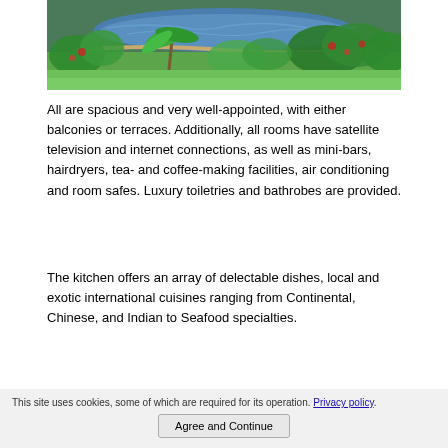[Figure (photo): Aerial or elevated view of a lush tropical garden with a water feature/pond, palm trees, flowering plants, and green lawn, photographed in bright daylight.]
All are spacious and very well-appointed, with either balconies or terraces. Additionally, all rooms have satellite television and internet connections, as well as mini-bars, hairdryers, tea- and coffee-making facilities, air conditioning and room safes. Luxury toiletries and bathrobes are provided.
The kitchen offers an array of delectable dishes, local and exotic international cuisines ranging from Continental, Chinese, and Indian to Seafood specialties.
This site uses cookies, some of which are required for its operation. Privacy policy
Agree and Continue